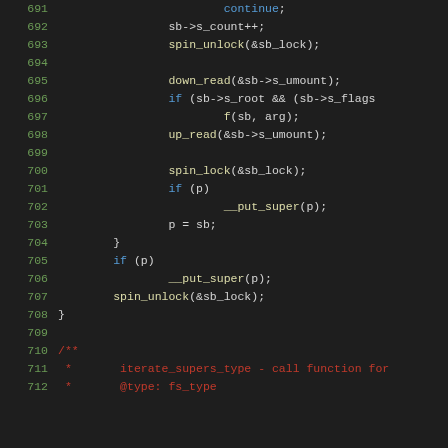[Figure (screenshot): Source code viewer showing C kernel code lines 691-712, with syntax highlighting on dark background. Line numbers in green, keywords in blue, function calls in yellow, comments in dark red.]